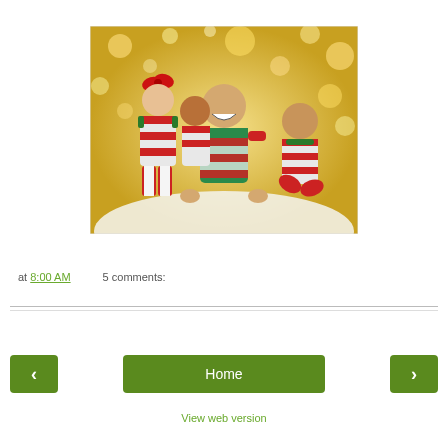[Figure (photo): Four children wearing matching red and white striped Christmas pajamas with green accents, posing on a white surface against a golden bokeh background. A girl with a red bow is on the left, two boys in the middle, and a baby on the right.]
at 8:00 AM   5 comments:
Home
View web version